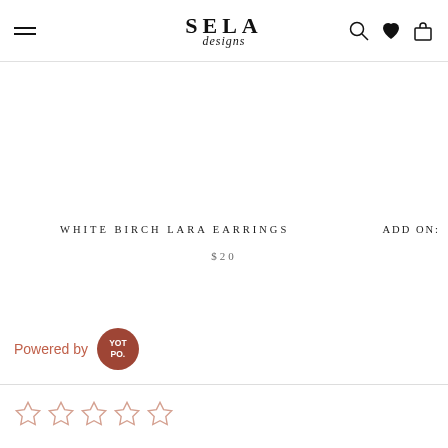SELA designs — navigation header with hamburger menu, logo, search, heart, and bag icons
WHITE BIRCH LARA EARRINGS
ADD ON:
$20
[Figure (logo): Powered by Yotpo badge — circular dark red badge with YOT PO. text in white]
[Figure (other): Five empty star rating icons in light beige/tan color]